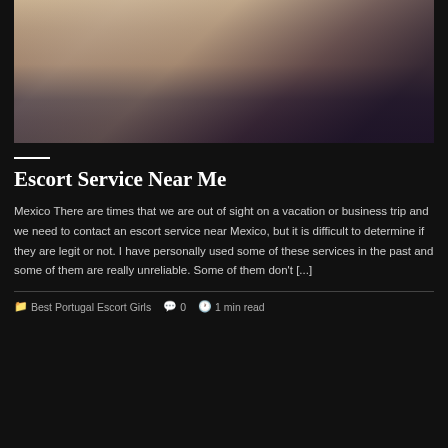[Figure (photo): Cropped photo of a woman's back, wearing dark lace underwear, with long dark hair, against a light background]
Escort Service Near Me
Mexico There are times that we are out of sight on a vacation or business trip and we need to contact an escort service near Mexico, but it is difficult to determine if they are legit or not. I have personally used some of these services in the past and some of them are really unreliable. Some of them don't [...]
Best Portugal Escort Girls   0   1 min read